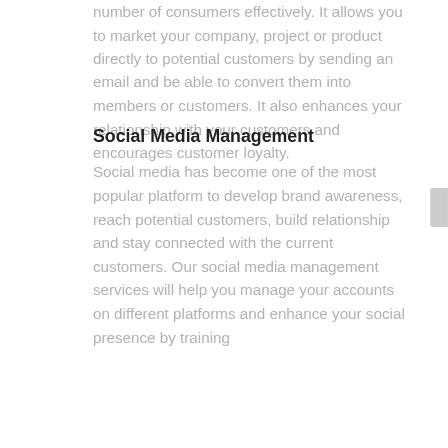number of consumers effectively. It allows you to market your company, project or product directly to potential customers by sending an email and be able to convert them into members or customers. It also enhances your relationship with your customers and encourages customer loyalty.
Social Media Management
Social media has become one of the most popular platform to develop brand awareness, reach potential customers, build relationship and stay connected with the current customers. Our social media management services will help you manage your accounts on different platforms and enhance your social presence by training